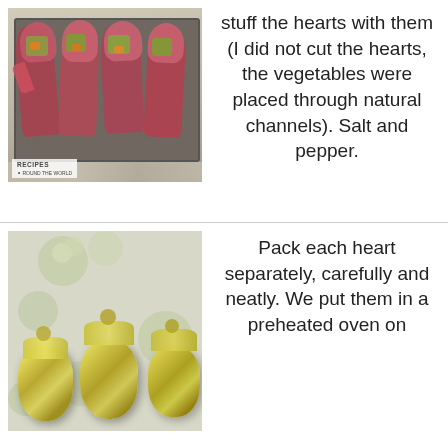[Figure (photo): Raw animal hearts stuffed with chopped vegetables, arranged on a dark baking tray on a granite countertop. A watermark reads 'RECIPES ROUND THE WORLD' with a spoon icon.]
stuff the hearts with them (I did not cut the hearts, the vegetables were placed through natural channels). Salt and pepper.
[Figure (photo): Animal hearts wrapped individually in gold/silver foil, placed on a floral patterned surface (green and white flowers on grey background).]
Pack each heart separately, carefully and neatly. We put them in a preheated oven on